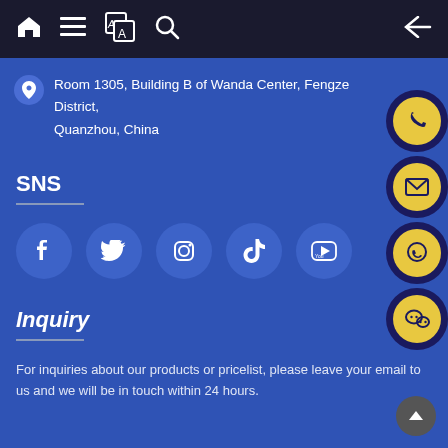[Figure (screenshot): Navigation bar with home, menu, translate, search icons on left and back arrow on right, dark background]
Room 1305, Building B of Wanda Center, Fengze District, Quanzhou, China
SNS
[Figure (infographic): Five social media icons in circular buttons: Facebook (f), Twitter (bird), Instagram (camera), TikTok, YouTube]
Inquiry
For inquiries about our products or pricelist, please leave your email to us and we will be in touch within 24 hours.